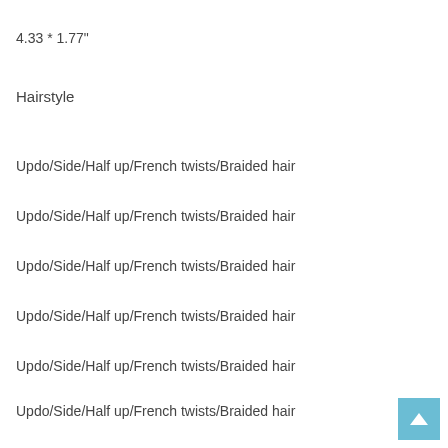4.33 * 1.77"
Hairstyle
Updo/Side/Half up/French twists/Braided hair
Updo/Side/Half up/French twists/Braided hair
Updo/Side/Half up/French twists/Braided hair
Updo/Side/Half up/French twists/Braided hair
Updo/Side/Half up/French twists/Braided hair
Updo/Side/Half up/French twists/Braided hair